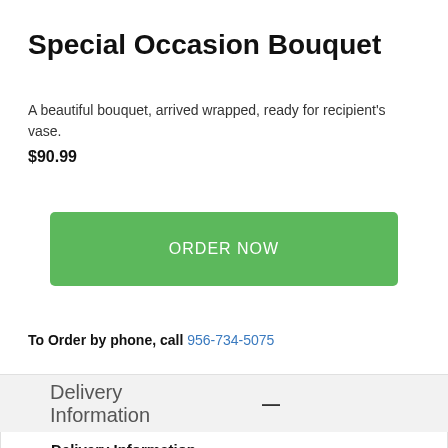Special Occasion Bouquet
A beautiful bouquet, arrived wrapped, ready for recipient's vase.
$90.99
ORDER NOW
To Order by phone, call 956-734-5075
Delivery Information
Delivery Information